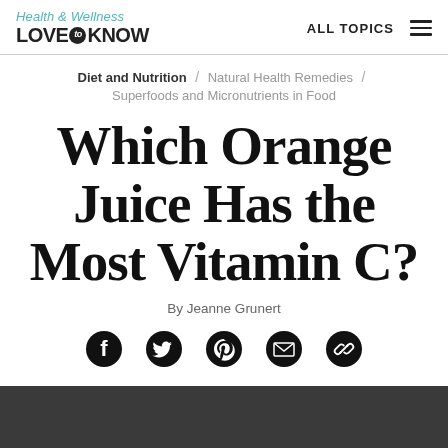Health & Wellness LOVE to KNOW | ALL TOPICS
Diet and Nutrition / Natural Health Remedies / Superfoods and Micronutrients in Food
Which Orange Juice Has the Most Vitamin C?
By Jeanne Grunert
[Figure (infographic): Social sharing icons: Facebook, Twitter, Pinterest, Email, Link]